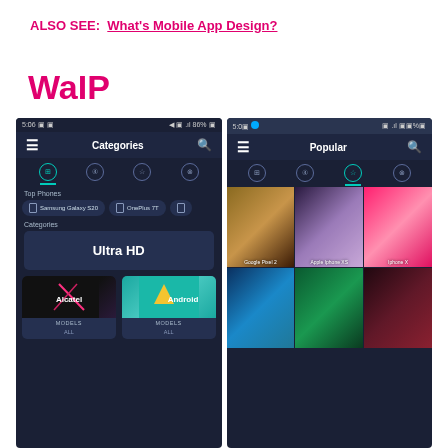ALSO SEE:  What's Mobile App Design?
WaIP
[Figure (screenshot): Two side-by-side Android app screenshots of WaIP wallpaper app. Left screenshot shows Categories screen with dark theme, Top Phones section (Samsung Galaxy S20, OnePlus 7T), Categories section with Ultra HD and brand tiles (Alcatel, Android). Right screenshot shows Popular screen with wallpaper grid including Google Pixel 2, Apple iPhone XS, iPhone X wallpapers and more in a dark theme.]